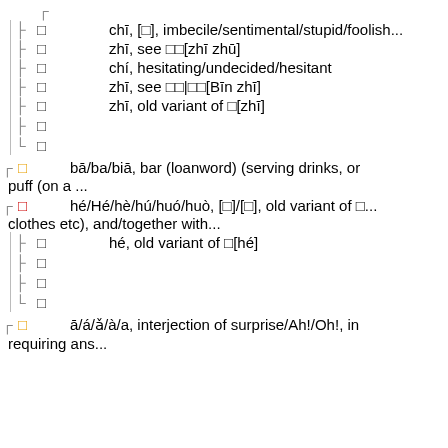chī, [□], imbecile/sentimental/stupid/foolish...
zhī, see □□[zhī zhū]
chí, hesitating/undecided/hesitant
zhī, see □□|□□[Bīn zhī]
zhī, old variant of □[zhī]
□
□
bā/ba/biā, bar (loanword) (serving drinks, or puff (on a ...
hé/Hé/hè/hú/huó/huò, [□]/[□], old variant of □... clothes etc), and/together with...
hé, old variant of □[hé]
□
□
□
ā/á/ǎ/à/a, interjection of surprise/Ah!/Oh!, in requiring ans...